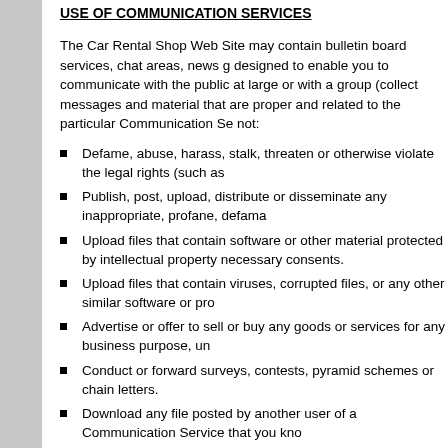USE OF COMMUNICATION SERVICES
The Car Rental Shop Web Site may contain bulletin board services, chat areas, news g designed to enable you to communicate with the public at large or with a group (collect messages and material that are proper and related to the particular Communication Se not:
Defame, abuse, harass, stalk, threaten or otherwise violate the legal rights (such as
Publish, post, upload, distribute or disseminate any inappropriate, profane, defama
Upload files that contain software or other material protected by intellectual property necessary consents.
Upload files that contain viruses, corrupted files, or any other similar software or pro
Advertise or offer to sell or buy any goods or services for any business purpose, un
Conduct or forward surveys, contests, pyramid schemes or chain letters.
Download any file posted by another user of a Communication Service that you kno
Falsify or delete any author attributions, legal or other proper notices or proprietary
Restrict or inhibit any other user from using and enjoying the Communication Servi
Violate any code of conduct or other guidelines which may be applicable for any pa
Harvest or otherwise collect information about others, including e-mail addresses, w
Violate any applicable laws or regulations.
Car Rental Shop has no obligation to monitor the Communication Services. However, C materials in its sole discretion. Car Rental Shop reserves the right to terminate your ac
Car Rental Shop reserves the right at all times to disclose any information as necessar